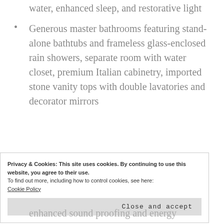water, enhanced sleep, and restorative light
Generous master bathrooms featuring stand-alone bathtubs and frameless glass-enclosed rain showers, separate room with water closet, premium Italian cabinetry, imported stone vanity tops with double lavatories and decorator mirrors
Privacy & Cookies: This site uses cookies. By continuing to use this website, you agree to their use.
To find out more, including how to control cookies, see here:
Cookie Policy
Close and accept
enhanced sound proofing and energy